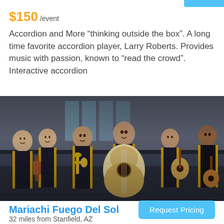$150 /event
Accordion and More “thinking outside the box”. A long time favorite accordion player, Larry Roberts. Provides music with passion, known to “read the crowd”. Interactive accordion
[Figure (photo): Group photo of Mariachi Fuego Del Sol band members in black mariachi suits with gold trim, holding instruments including violin, trumpet, and guitar/vihuela, standing in an interior venue.]
Mariachi Fuego Del Sol
32 miles from Stanfield, AZ
Request Pricing